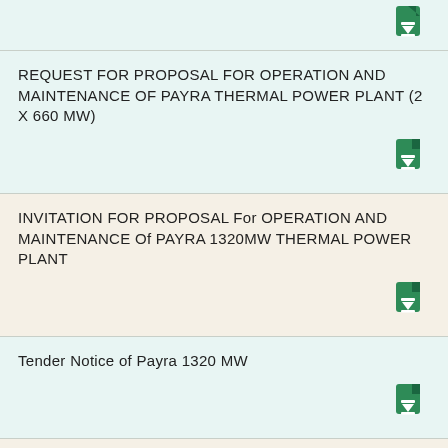[Figure (other): Download icon (green document with down arrow) - partial row at top]
REQUEST FOR PROPOSAL FOR OPERATION AND MAINTENANCE OF PAYRA THERMAL POWER PLANT (2 X 660 MW)
[Figure (other): Download icon (green document with down arrow)]
INVITATION FOR PROPOSAL For OPERATION AND MAINTENANCE Of PAYRA 1320MW THERMAL POWER PLANT
[Figure (other): Download icon (green document with down arrow)]
Tender Notice of Payra 1320 MW
[Figure (other): Download icon (green document with down arrow)]
Volume 1 of 4 Bidding Procedures